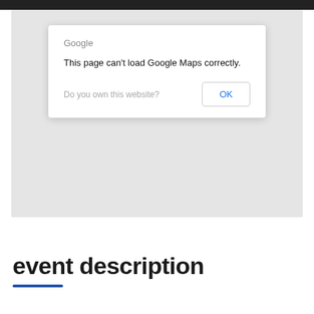[Figure (screenshot): Google Maps error dialog overlay on a grey map background. Dialog reads: 'Google' as header, 'This page can't load Google Maps correctly.' as message, 'Do you own this website?' as subtext, and an 'OK' button.]
event description